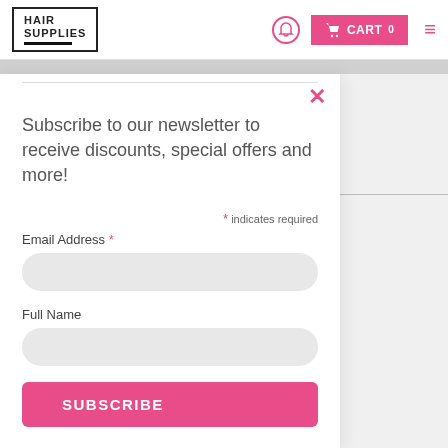HAIR SUPPLIES
Subscribe to our newsletter to receive discounts, special offers and more!
* indicates required
Email Address *
Full Name
SUBSCRIBE